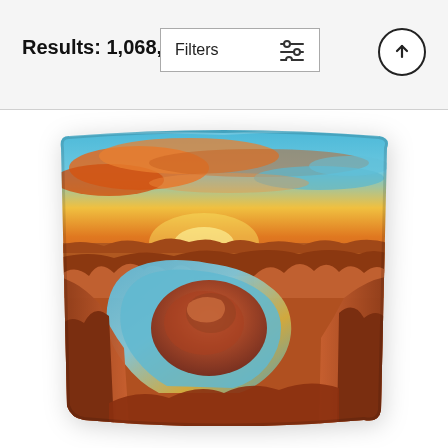Results: 1,068,789
[Figure (screenshot): Filters button with sliders icon and upload/sort arrow button in circular border]
[Figure (photo): A tapestry/blanket product showing an aerial photograph of Horseshoe Bend canyon with the Colorado River forming a horseshoe shape around a red rock formation, dramatic orange and blue sunset sky above]